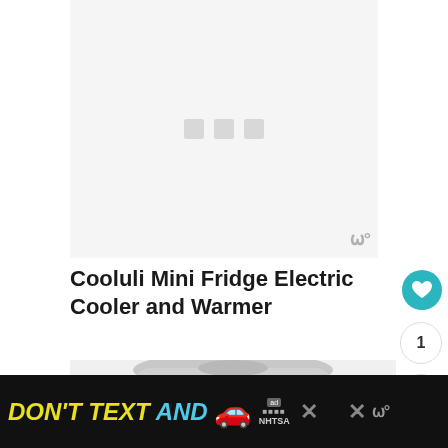[Figure (photo): White/light gray loading placeholder area with three small gray square loading indicator dots in the center, and a watermark logo in the bottom-right corner]
Cooluli Mini Fridge Electric Cooler and Warmer
[Figure (photo): Top portion of a Cooluli Mini Fridge Electric Cooler and Warmer product, showing a rounded silver/gray top surface]
[Figure (infographic): Advertisement banner: DON'T TEXT AND [car emoji] with NHTSA ad logo and close buttons]